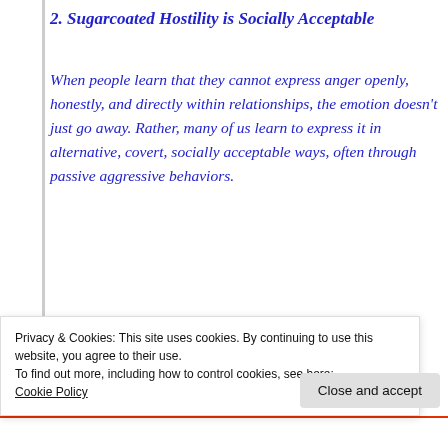2. Sugarcoated Hostility is Socially Acceptable
When people learn that they cannot express anger openly, honestly, and directly within relationships, the emotion doesn’t just go away. Rather, many of us learn to express it in alternative, covert, socially acceptable ways, often through passive aggressive behaviors.
3. Passive Aggression is Easier
Privacy & Cookies: This site uses cookies. By continuing to use this website, you agree to their use.
To find out more, including how to control cookies, see here:
Cookie Policy
Close and accept